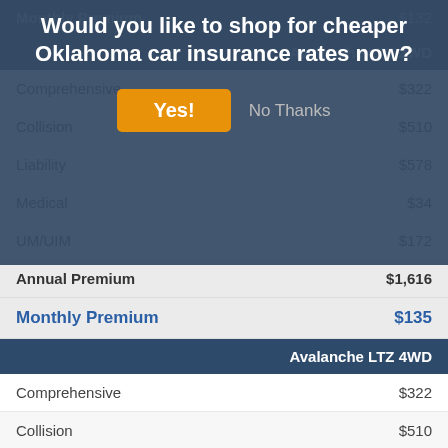Would you like to shop for cheaper Oklahoma car insurance rates now?
|  | Avalanche LTZ 2WD |
| --- | --- |
| Monthly Premium | $132 |
| Comprehensive | $322 |
| Collision | $510 |
| Liability | $578 |
| Medical | $34 |
| UM/UIM | $172 |
| Annual Premium | $1,616 |
| Monthly Premium | $135 |
|  | Avalanche LTZ 4WD |
| --- | --- |
| Comprehensive | $322 |
| Collision | $510 |